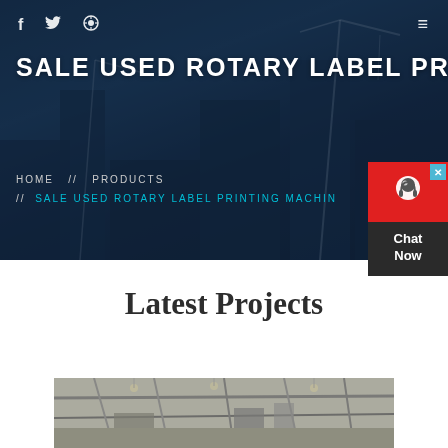[Figure (photo): Hero background showing construction site with cranes and buildings at night/dusk with dark blue overlay]
f  🐦  ⊕  ≡
SALE USED ROTARY LABEL PRIN
HOME // PRODUCTS // SALE USED ROTARY LABEL PRINTING MACHIN
[Figure (infographic): Live chat widget with red background, headset icon, and Chat Now label]
Latest Projects
[Figure (photo): Industrial/construction interior photo showing structural beams and equipment]